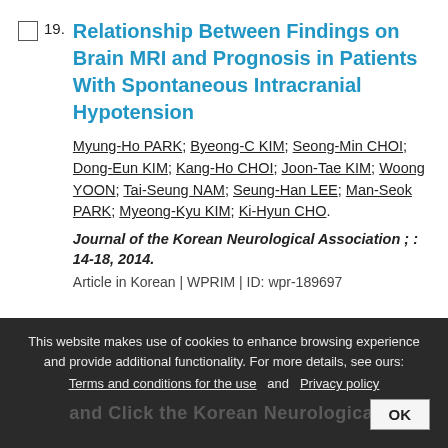19. Relationship Between Findings on Brain MRI and Prognosis in Patients With Spontaneous Intracranial Hypotension. Myung-Ho PARK; Byeong-C KIM; Seong-Min CHOI; Dong-Eun KIM; Kang-Ho CHOI; Joon-Tae KIM; Woong YOON; Tai-Seung NAM; Seung-Han LEE; Man-Seok PARK; Myeong-Kyu KIM; Ki-Hyun CHO. Journal of the Korean Neurological Association ; : 14-18, 2014. Article in Korean | WPRIM | ID: wpr-189697
This website makes use of cookies to enhance browsing experience and provide additional functionality. For more details, see ours: Terms and conditions for the use and Privacy policy